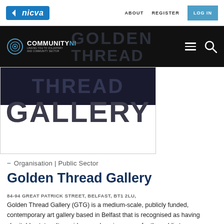nicva | ABOUT  REGISTER  LOG IN
[Figure (screenshot): CommunityNI logo on black navigation bar with hamburger menu and search icon, overlaid with large watermark text reading GOLDEN THREAD GALLERY]
[Figure (screenshot): Hero image showing large bold text GALLERY on dark background]
– Organisation | Public Sector
Golden Thread Gallery
84-94 GREAT PATRICK STREET, BELFAST, BT1 2LU,
Golden Thread Gallery (GTG) is a medium-scale, publicly funded, contemporary art gallery based in Belfast that is recognised as having charitable status. It provides a welcoming space for the public to engage with contemporary visual art, and has grown steadily since it was founded in